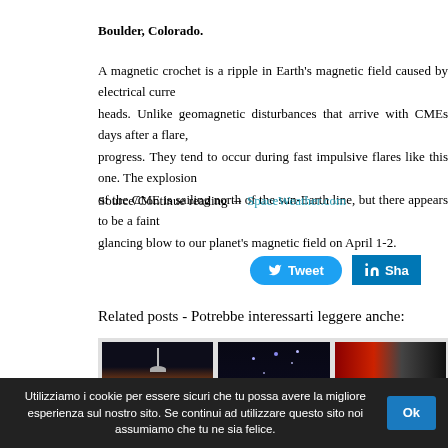Boulder, Colorado.
A magnetic crochet is a ripple in Earth's magnetic field caused by electrical currents in the ionosphere that ride atop radiation from solar flares as it heads. Unlike geomagnetic disturbances that arrive with CMEs days after a flare, crochets occur while the flare is still in progress. They tend to occur during fast impulsive flares like this one. The explosion also produced a CME. The bulk of the CME is sailing north of the sun-Earth line, but there appears to be a faint Earth-directed component that could deliver a glancing blow to our planet's magnetic field on April 1-2.
Source/Continue reading → SpaceWeather.com
[Figure (screenshot): Tweet button (blue rounded) and LinkedIn Share button (blue square)]
Related posts - Potrebbe interessarti leggere anche:
[Figure (photo): Three thumbnail images: first shows a space probe with orange planet and antenna, second shows a night sky with stars, third shows a red/orange solar or space image]
Utilizziamo i cookie per essere sicuri che tu possa avere la migliore esperienza sul nostro sito. Se continui ad utilizzare questo sito noi assumiamo che tu ne sia felice.